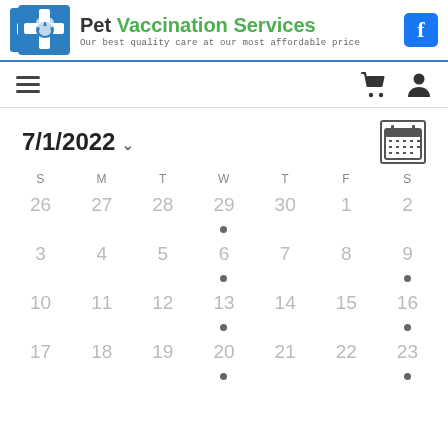Pet Vaccination Services — Our best quality care at our most affordable price
[Figure (logo): Pet Vaccination Services logo with blue cross and animal silhouettes]
7/1/2022
| S | M | T | W | T | F | S |
| --- | --- | --- | --- | --- | --- | --- |
| 26 | 27 | 28 | 29 • | 30 | 1 | 2 |
| 3 | 4 | 5 | 6 • | 7 | 8 | 9 • |
| 10 | 11 | 12 | 13 • | 14 | 15 | 16 • |
| 17 | 18 | 19 | 20 • | 21 | 22 | 23 • |